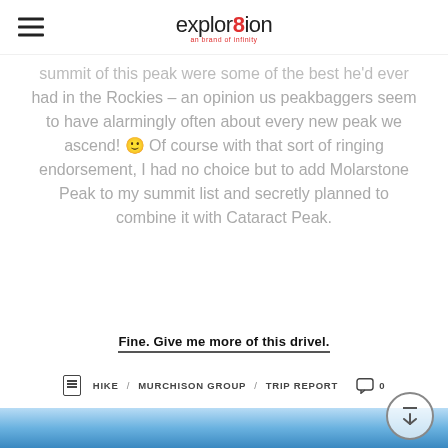explor8ion
summit of this peak were some of the best he'd ever had in the Rockies – an opinion us peakbaggers seem to have alarmingly often about every new peak we ascend! 🙂 Of course with that sort of ringing endorsement, I had no choice but to add Molarstone Peak to my summit list and secretly planned to combine it with Cataract Peak.
Fine. Give me more of this drivel.
HIKE / MURCHISON GROUP / TRIP REPORT   0
[Figure (photo): Mountain photo with blue sky background, partially visible at bottom of page]